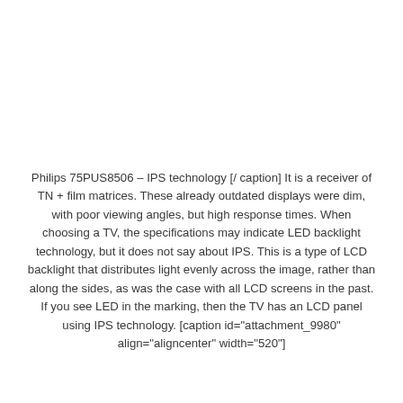Philips 75PUS8506 – IPS technology [/ caption] It is a receiver of TN + film matrices. These already outdated displays were dim, with poor viewing angles, but high response times. When choosing a TV, the specifications may indicate LED backlight technology, but it does not say about IPS. This is a type of LCD backlight that distributes light evenly across the image, rather than along the sides, as was the case with all LCD screens in the past. If you see LED in the marking, then the TV has an LCD panel using IPS technology. [caption id="attachment_9980" align="aligncenter" width="520"]